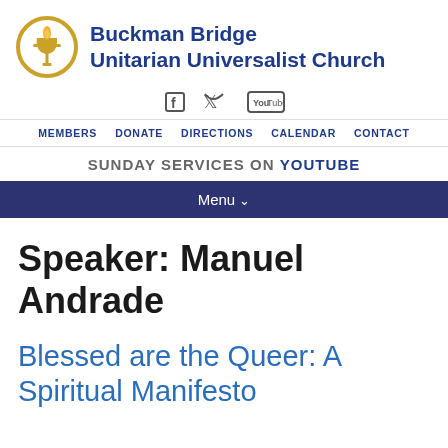Buckman Bridge Unitarian Universalist Church
[Figure (logo): UU chalice logo — circular gold/yellow chalice with flame on white background]
Facebook, Twitter, YouTube social media icons
MEMBERS  DONATE  DIRECTIONS  CALENDAR  CONTACT
SUNDAY SERVICES ON YOUTUBE
Menu
Speaker: Manuel Andrade
Blessed are the Queer: A Spiritual Manifesto